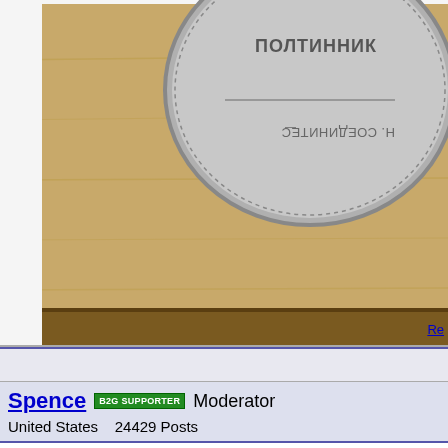[Figure (photo): Photo of a coin (appears to be a Russian poltinik/50 kopek coin) on a wooden surface. The coin shows Cyrillic text ПОЛТИННИК visible.]
Re
Spence   B2G SUPPORTER   Moderator
United States   24429 Posts
Posted 01/21/2022  8:54 pm
@void, first welcome to CCF. Second, can you pl know if a magnet is attracted to this piece? Also, please post the weight? Thx.